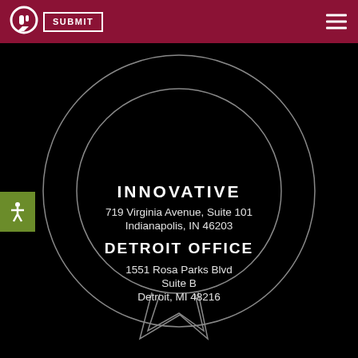I SUBMIT (logo) — navigation header with hamburger menu
[Figure (illustration): Large speech bubble / Q-shaped ring outline graphic centered on black background, with a circular ring inside and speech bubble tail at bottom]
INNOVATIVE
719 Virginia Avenue, Suite 101
Indianapolis, IN 46203
DETROIT OFFICE
1551 Rosa Parks Blvd
Suite B
Detroit, MI 48216